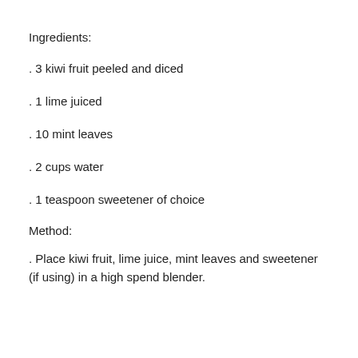Ingredients:
. 3 kiwi fruit peeled and diced
. 1 lime juiced
. 10 mint leaves
. 2 cups water
. 1 teaspoon sweetener of choice
Method:
. Place kiwi fruit, lime juice, mint leaves and sweetener (if using) in a high spend blender.